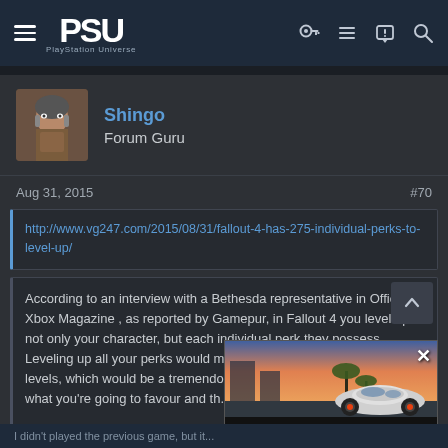PSU PlayStation Universe
[Figure (screenshot): User avatar showing a dark-toned male character portrait]
Shingo
Forum Guru
Aug 31, 2015   #70
http://www.vg247.com/2015/08/31/fallout-4-has-275-individual-perks-to-level-up/
According to an interview with a Bethesda representative in Official Xbox Magazine , as reported by Gamepur, in Fallout 4 you level up not only your character, but each individual perk they possess. Leveling up all your perks would mean climbing up 275 seperate XP levels, which would be a tremendously difficult and lengthy... pick what you're going to favour and th...
This means that Fallout 4's options for... Click to exp...
[Figure (photo): Advertisement showing a McLaren sports car with text: SLIGHTLY MAD STUDIOS WILL BE DELISTING PROJECT CARS 1 & 2]
I didn't played the previous game, but it...